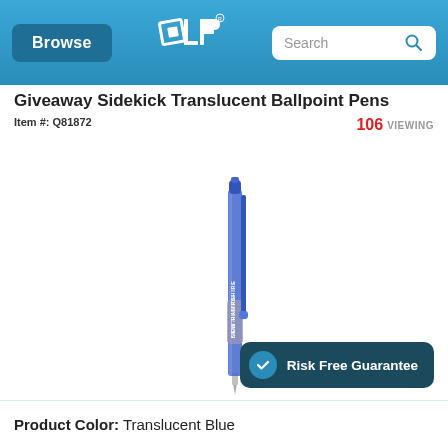Browse | [QLP logo] | Search
Giveaway Sidekick Translucent Ballpoint Pens
Item #: Q81872
106 VIEWING
[Figure (photo): A blue translucent ballpoint retractable pen with grey grip and clip, imprinted with 'NEW HAMPSHIRE CONSTRUCTION' in white text]
Risk Free Guarantee
Product Color: Translucent Blue